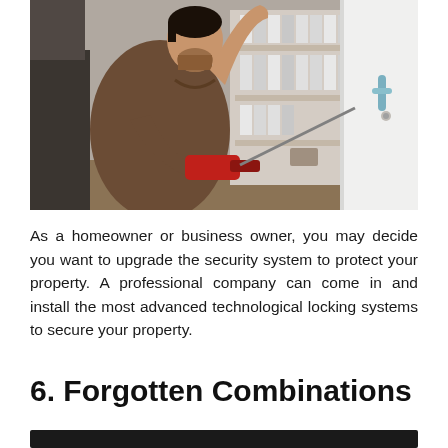[Figure (photo): A man in a brown polo shirt using a red power drill to install or adjust a door lock/handle on a white door. Bookshelves with binders are visible in the background.]
As a homeowner or business owner, you may decide you want to upgrade the security system to protect your property. A professional company can come in and install the most advanced technological locking systems to secure your property.
6. Forgotten Combinations
[Figure (photo): Dark bar at bottom of page, appears to be the top of another image.]